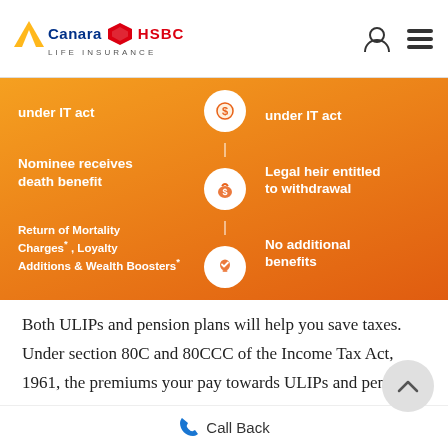Canara HSBC Life Insurance
[Figure (infographic): Comparison infographic on orange gradient background showing ULIP benefits on the left and pension plan features on the right. Left: 'under IT act', 'Nominee receives death benefit', 'Return of Mortality Charges*, Loyalty Additions & Wealth Boosters*'. Right: 'under IT act', 'Legal heir entitled to withdrawal', 'No additional benefits'. Center icons: dollar bag, money bag, lightbulb with checkmark.]
Both ULIPs and pension plans will help you save taxes. Under section 80C and 80CCC of the Income Tax Act, 1961, the premiums your pay towards ULIPs and pension plans are exempt from tax respectively - both are subject to an annual limit of 1.5 lacs per annum. On the other hand, while withdrawals under ULIPs are exempt from taxes (subject to
Call Back